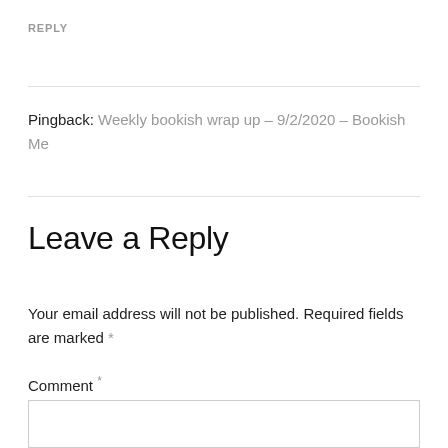REPLY
Pingback: Weekly bookish wrap up – 9/2/2020 – Bookish Me
Leave a Reply
Your email address will not be published. Required fields are marked *
Comment *